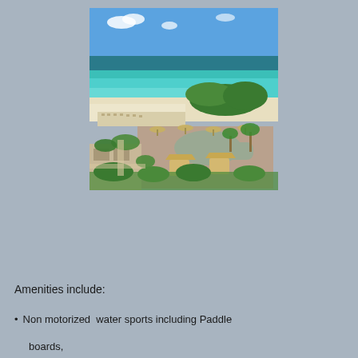[Figure (photo): Aerial view of a tropical beach resort with turquoise water, white sandy beach, palm trees, pool area with cabanas and umbrellas, and lush green vegetation.]
Amenities include:
Non motorized  water sports including Paddle boards,